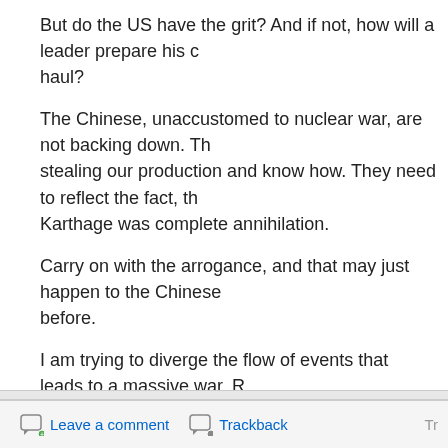But do the US have the grit? And if not, how will a leader prepare his country for the long haul?
The Chinese, unaccustomed to nuclear war, are not backing down. They need to reflect the fact, that the fate of Karthage was complete annihilation.
Carry on with the arrogance, and that may just happen to the Chinese as it never happened before.
I am trying to diverge the flow of events that leads to a massive war. R... still beat China relatively easy. Do that, and the Great War will be avoided... and imagine Chinese bombers over L.A..
War is a sickening thing, but sometimes it has to be done fast and as e...
This is, to me, one of those times. Get it over with, fast and effectively,... peace.
G-d bless the will to learn from history.
Politics
Leave a comment   Trackback